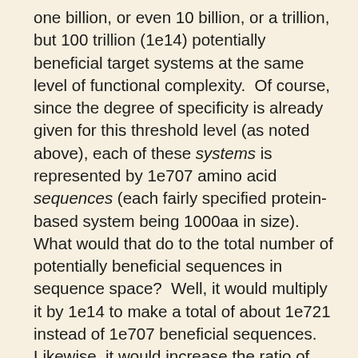one billion, or even 10 billion, or a trillion, but 100 trillion (1e14) potentially beneficial target systems at the same level of functional complexity.  Of course, since the degree of specificity is already given for this threshold level (as noted above), each of these systems is represented by 1e707 amino acid sequences (each fairly specified protein-based system being 1000aa in size).  What would that do to the total number of potentially beneficial sequences in sequence space?  Well, it would multiply it by 1e14 to make a total of about 1e721 instead of 1e707 beneficial sequences.  Likewise, it would increase the ratio of beneficial vs. non-beneficial 1e14 fold to 1e-580